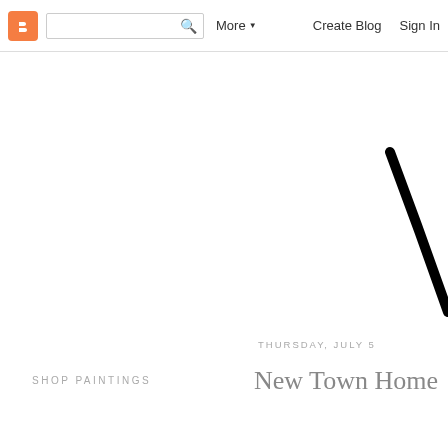Blogger navbar with search, More, Create Blog, Sign In
[Figure (illustration): Partial black curved brushstroke or calligraphic element visible in the upper-right area of the page, on white background]
SHOP PAINTINGS
THURSDAY, JULY 5
New Town Home